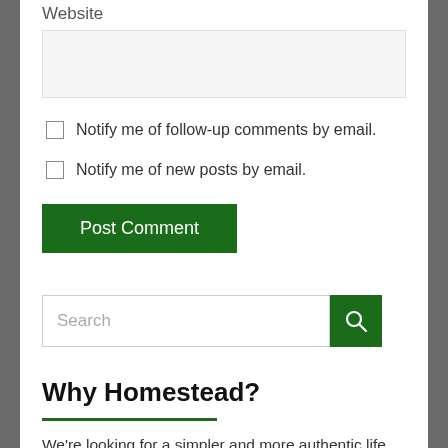Website
Notify me of follow-up comments by email.
Notify me of new posts by email.
Post Comment
Search
Why Homestead?
We're looking for a simpler and more authentic life out in the woods. We value enjoying time together, rehabilitating